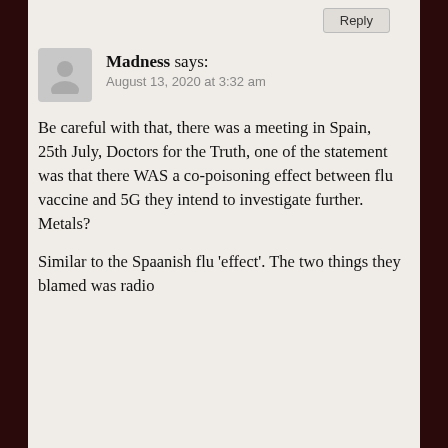Reply
Madness says:
August 13, 2020 at 3:32 am
Be careful with that, there was a meeting in Spain, 25th July, Doctors for the Truth, one of the statement was that there WAS a co-poisoning effect between flu vaccine and 5G they intend to investigate further. Metals?
Similar to the Spaanish flu 'effect'. The two things they blamed was radio